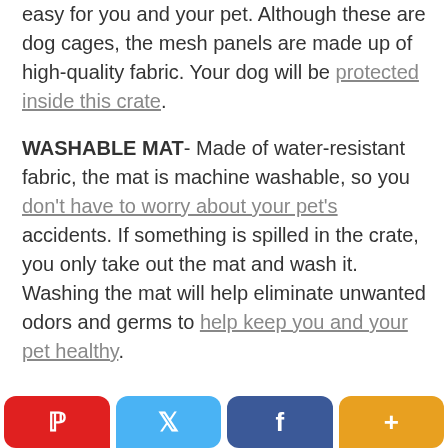easy for you and your pet. Although these are dog cages, the mesh panels are made up of high-quality fabric. Your dog will be protected inside this crate.
WASHABLE MAT- Made of water-resistant fabric, the mat is machine washable, so you don't have to worry about your pet's accidents. If something is spilled in the crate, you only take out the mat and wash it. Washing the mat will help eliminate unwanted odors and germs to help keep you and your pet healthy.
Pinterest | Twitter | Facebook | +